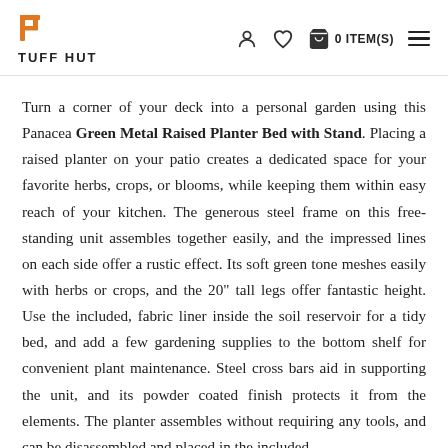TUFF HUT — 0 ITEM(S)
Turn a corner of your deck into a personal garden using this Panacea Green Metal Raised Planter Bed with Stand. Placing a raised planter on your patio creates a dedicated space for your favorite herbs, crops, or blooms, while keeping them within easy reach of your kitchen. The generous steel frame on this free-standing unit assembles together easily, and the impressed lines on each side offer a rustic effect. Its soft green tone meshes easily with herbs or crops, and the 20" tall legs offer fantastic height. Use the included, fabric liner inside the soil reservoir for a tidy bed, and add a few gardening supplies to the bottom shelf for convenient plant maintenance. Steel cross bars aid in supporting the unit, and its powder coated finish protects it from the elements. The planter assembles without requiring any tools, and can be disassembled and placed in the included